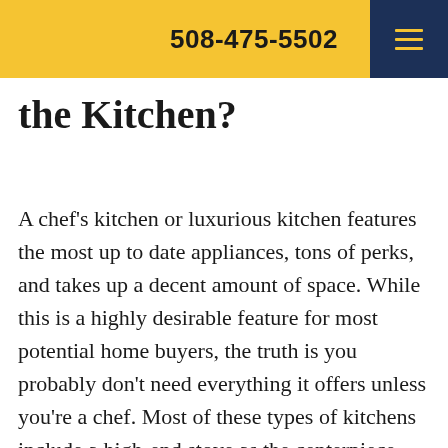508-475-5502
the Kitchen?
A chef's kitchen or luxurious kitchen features the most up to date appliances, tons of perks, and takes up a decent amount of space. While this is a highly desirable feature for most potential home buyers, the truth is you probably don't need everything it offers unless you're a chef. Most of these types of kitchens include a high-end stove as the centerpiece, which can cost more than double the price of a normal stove or range, and that's just the stove. In the end, all the pricey features that make up a luxury kitchen